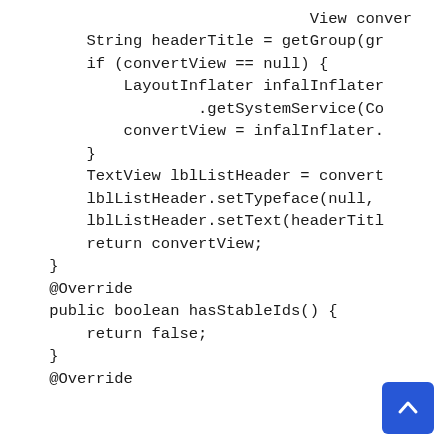View conver
        String headerTitle = getGroup(gro
        if (convertView == null) {
            LayoutInflater infalInflater
                    .getSystemService(Co
            convertView = infalInflater.
        }
        TextView lblListHeader = convert
        lblListHeader.setTypeface(null, 
        lblListHeader.setText(headerTitl
        return convertView;
    }
    @Override
    public boolean hasStableIds() {
        return false;
    }
    @Override